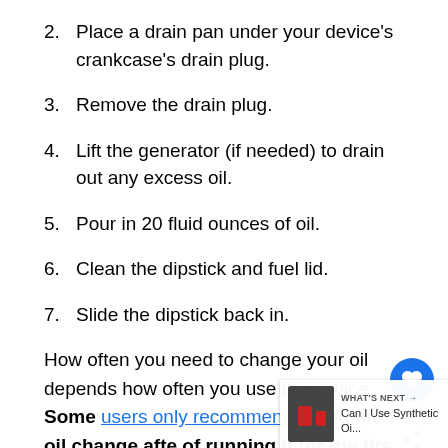2. Place a drain pan under your device's crankcase's drain plug.
3. Remove the drain plug.
4. Lift the generator (if needed) to drain out any excess oil.
5. Pour in 20 fluid ounces of oil.
6. Clean the dipstick and fuel lid.
7. Slide the dipstick back in.
How often you need to change your oil depends how often you use the device. Some users only recommend doing an oil change after of running it for the first time. However, when you need an oil change, the generator will shut